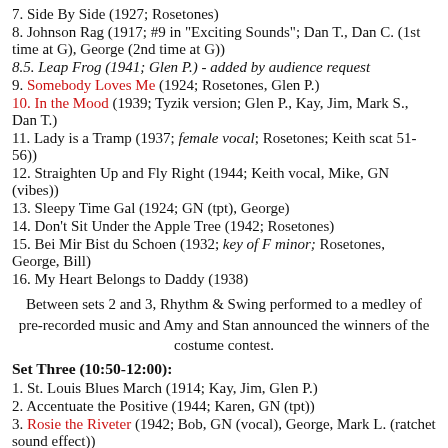7. Side By Side (1927; Rosetones)
8. Johnson Rag (1917; #9 in "Exciting Sounds"; Dan T., Dan C. (1st time at G), George (2nd time at G))
8.5. Leap Frog (1941; Glen P.) - added by audience request
9. Somebody Loves Me (1924; Rosetones, Glen P.)
10. In the Mood (1939; Tyzik version; Glen P., Kay, Jim, Mark S., Dan T.)
11. Lady is a Tramp (1937; female vocal; Rosetones; Keith scat 51-56))
12. Straighten Up and Fly Right (1944; Keith vocal, Mike, GN (vibes))
13. Sleepy Time Gal (1924; GN (tpt), George)
14. Don't Sit Under the Apple Tree (1942; Rosetones)
15. Bei Mir Bist du Schoen (1932; key of F minor; Rosetones, George, Bill)
16. My Heart Belongs to Daddy (1938)
Between sets 2 and 3, Rhythm & Swing performed to a medley of pre-recorded music and Amy and Stan announced the winners of the costume contest.
Set Three (10:50-12:00):
1. St. Louis Blues March (1914; Kay, Jim, Glen P.)
2. Accentuate the Positive (1944; Karen, GN (tpt))
3. Rosie the Riveter (1942; Bob, GN (vocal), George, Mark L. (ratchet sound effect))
4. Strictly Instrumental (1942; Mark S.)